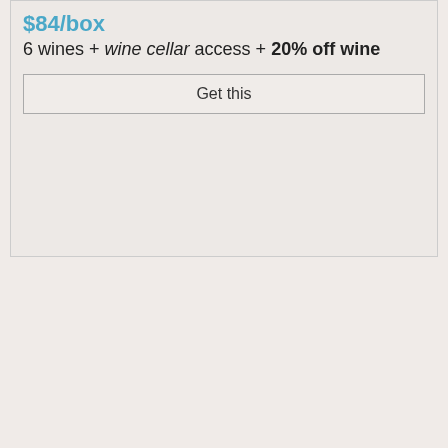$84/box
6 wines + wine cellar access + 20% off wine
Get this